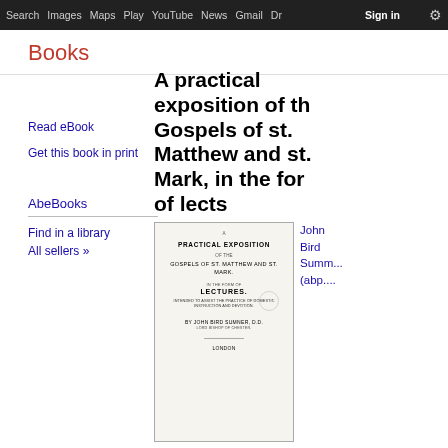Search  Images  Maps  Play  YouTube  News  Gmail  Drive  More  Sign in
Books
A practical exposition of the Gospels of st. Matthew and st. Mark, in the form of lects
Read eBook
Get this book in print
AbeBooks
Find in a library
All sellers »
[Figure (photo): Title page of a book: PRACTICAL EXPOSITION of the GOSPELS OF ST. MATTHEW AND ST. MARK, in the form of LECTURES, by DR. JOHN BIRD SUMNER, D.D., Canon Bishop of Chester, London]
John Bird Summ... (abp....